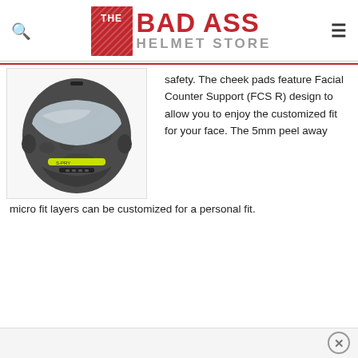[Figure (logo): The Bad Ass Helmet Store logo — red box with diagonal stripes containing 'THE', next to red bold 'BAD ASS' text and grey 'HELMET STORE' text]
[Figure (photo): Full-face motorcycle helmet in dark grey/camo pattern with yellow accent stripe and visor, viewed from front-left angle]
safety. The cheek pads feature Facial Counter Support (FCS R) design to allow you to enjoy the customized fit for your face. The 5mm peel away micro fit layers can be customized for a personal fit.